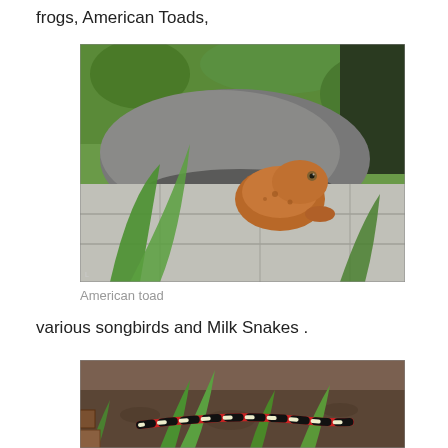frogs, American Toads,
[Figure (photo): An American toad sitting under a rock on a stone surface outdoors, with green grass and plants in the background.]
American toad
various songbirds and Milk Snakes .
[Figure (photo): A milk snake or similar banded snake on soil surrounded by green plants in a garden setting.]